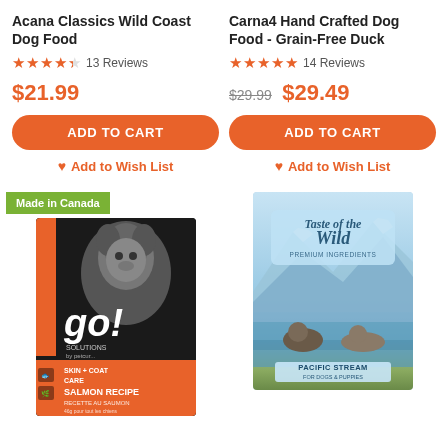Acana Classics Wild Coast Dog Food
★★★★☆ 13 Reviews
$21.99
ADD TO CART
♥ Add to Wish List
Carna4 Hand Crafted Dog Food - Grain-Free Duck
★★★★★ 14 Reviews
$29.99  $29.49
ADD TO CART
♥ Add to Wish List
[Figure (photo): Go! Solutions Skin+Coat Care Salmon Recipe dog food bag with black packaging and orange branding, with a 'Made in Canada' badge]
[Figure (photo): Taste of the Wild Pacific Stream dog food bag with blue mountain and wildlife imagery]